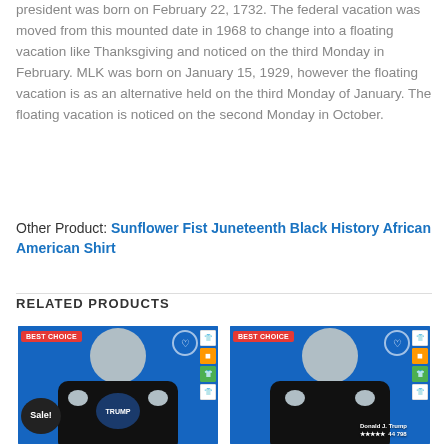president was born on February 22, 1732. The federal vacation was moved from this mounted date in 1968 to change into a floating vacation like Thanksgiving and noticed on the third Monday in February. MLK was born on January 15, 1929, however the floating vacation is as an alternative held on the third Monday of January. The floating vacation is noticed on the second Monday in October.
Other Product: Sunflower Fist Juneteenth Black History African American Shirt
RELATED PRODUCTS
[Figure (photo): Product card showing a man wearing a black Trump shirt on blue background, with BEST CHOICE badge, Sale! badge, heart icon, and shirt/product icons on the right]
[Figure (photo): Product card showing a man wearing a black Donald J. Trump shirt on blue background, with BEST CHOICE badge, heart icon, and shirt/product icons on the right]